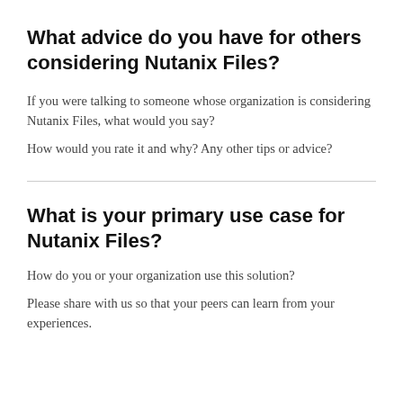What advice do you have for others considering Nutanix Files?
If you were talking to someone whose organization is considering Nutanix Files, what would you say?
How would you rate it and why? Any other tips or advice?
What is your primary use case for Nutanix Files?
How do you or your organization use this solution?
Please share with us so that your peers can learn from your experiences.